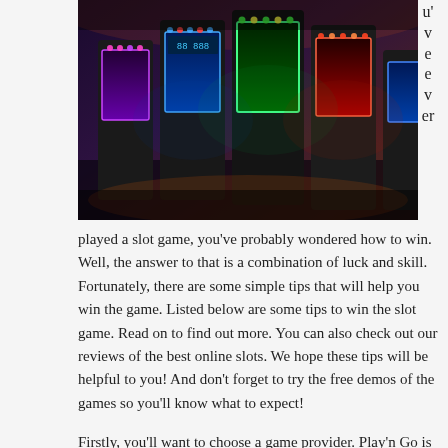[Figure (photo): Row of colorful slot machines in a casino, illuminated by bright neon lights in blue, red, and orange tones.]
u've ever played a slot game, you've probably wondered how to win. Well, the answer to that is a combination of luck and skill. Fortunately, there are some simple tips that will help you win the game. Listed below are some tips to win the slot game. Read on to find out more. You can also check out our reviews of the best online slots. We hope these tips will be helpful to you! And don't forget to try the free demos of the games so you'll know what to expect!
Firstly, you'll want to choose a game provider. Play'n Go is one of the most popular online gaming providers. The company has been in business for over